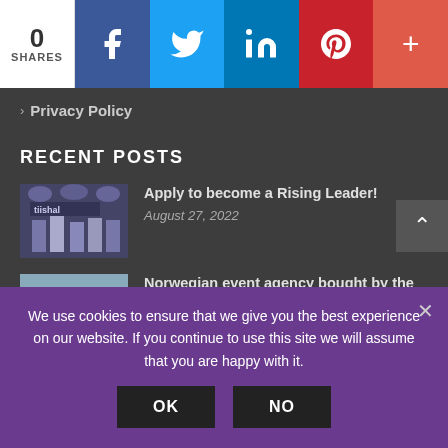0 SHARES | Facebook | Twitter | LinkedIn | Pinterest | +
> Privacy Policy
RECENT POSTS
[Figure (photo): Thumbnail image for Rising Leader article showing people on stage]
Apply to become a Rising Leader!
August 27, 2022
[Figure (photo): Thumbnail image for Norwegian event agency article showing group of people]
Norwegian event agency bought by the Nordics' largest event operator
August 19, 2022
We use cookies to ensure that we give you the best experience on our website. If you continue to use this site we will assume that you are happy with it.
OK | NO